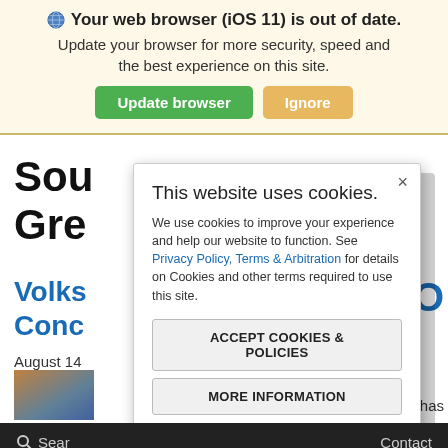🌐 Your web browser (iOS 11) is out of date. Update your browser for more security, speed and the best experience on this site.
Update browser | Ignore
Sou Gre
Volks Conc O
August 14
[Figure (screenshot): Partially visible webpage background with article title, blue subheadings and a thumbnail image]
This website uses cookies.
We use cookies to improve your experience and help our website to function. See Privacy Policy, Terms & Arbitration for details on Cookies and other terms required to use this site.
ACCEPT COOKIES & POLICIES
MORE INFORMATION
Privacy Policy
Search  Contact